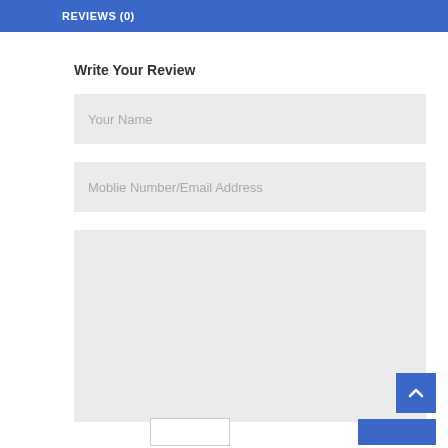REVIEWS (0)
Write Your Review
Your Name
Moblie Number/Email Address